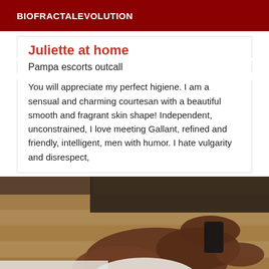BIOFRACTALEVOLUTION
Juliette at home
Pampa escorts outcall
You will appreciate my perfect higiene. I am a sensual and charming courtesan with a beautiful smooth and fragrant skin shape! Independent, unconstrained, I love meeting Gallant, refined and friendly, intelligent, men with humor. I hate vulgarity and disrespect,
[Figure (photo): A woman lying on a wooden floor wearing a white outfit, photographed from above/side angle]